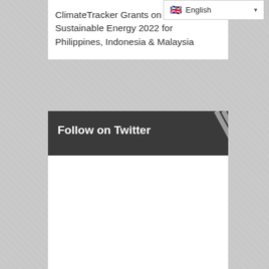English
ClimateTracker Grants on Just and Sustainable Energy 2022 for Philippines, Indonesia & Malaysia
Follow on Twitter